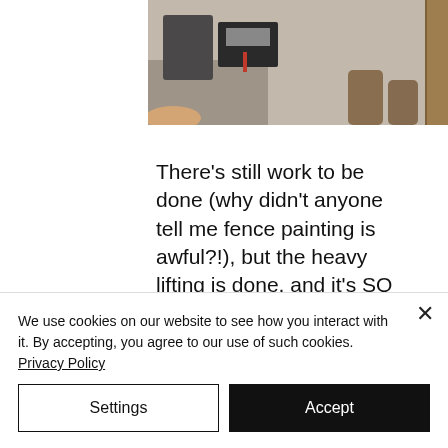[Figure (photo): Overhead view of a patio or garden area with tools, a dark box/container, and a person's feet visible on gravel or stone surface]
There's still work to be done (why didn't anyone tell me fence painting is awful?!), but the heavy lifting is done, and it's SO much better for the pups!
[Figure (photo): Garden patio area with potted plants including palm-like plants in terracotta and dark pots, dark fence, light paving stones, and a wicker chair on the right]
We use cookies on our website to see how you interact with it. By accepting, you agree to our use of such cookies. Privacy Policy
Settings
Accept